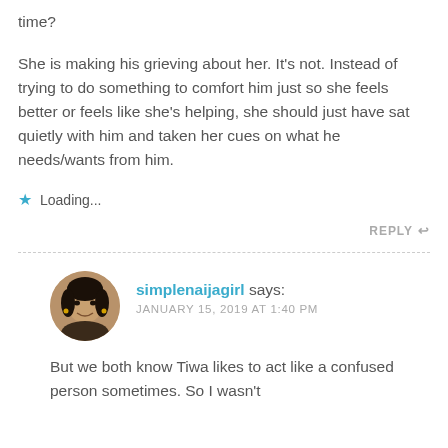time?
She is making his grieving about her. It's not. Instead of trying to do something to comfort him just so she feels better or feels like she's helping, she should just have sat quietly with him and taken her cues on what he needs/wants from him.
★ Loading...
REPLY ↩
simplenaijagirl says: JANUARY 15, 2019 AT 1:40 PM
But we both know Tiwa likes to act like a confused person sometimes. So I wasn't